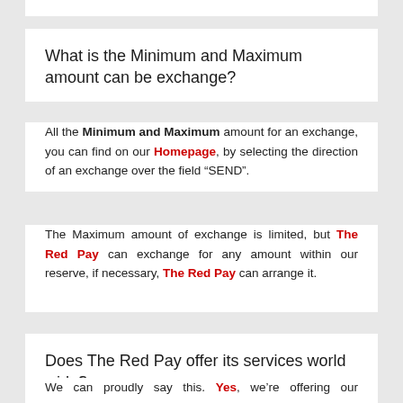What is the Minimum and Maximum amount can be exchange?
All the Minimum and Maximum amount for an exchange, you can find on our Homepage, by selecting the direction of an exchange over the field “SEND”.
The Maximum amount of exchange is limited, but The Red Pay can exchange for any amount within our reserve, if necessary, The Red Pay can arrange it.
Does The Red Pay offer its services world wide?
We can proudly say this. Yes, we’re offering our Exchange & E-wallet services to the world.
Still the Bank Transfer facilities are available within few countries &